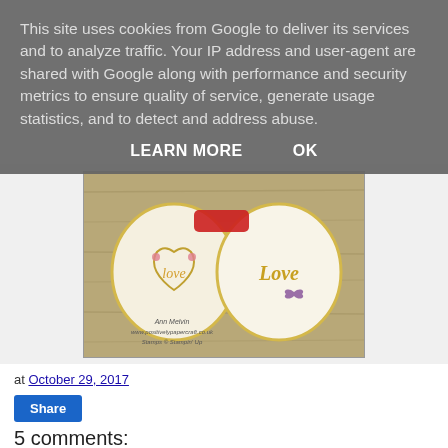This site uses cookies from Google to deliver its services and to analyze traffic. Your IP address and user-agent are shared with Google along with performance and security metrics to ensure quality of service, generate usage statistics, and to detect and address abuse.
LEARN MORE   OK
[Figure (photo): Decorative handmade cards with hearts, flowers, and the word 'love' in gold lettering on a wooden background. Watermark reads 'Ann Melvin www.positivelypapercraft.co.uk Stamps © Stampin Up']
at October 29, 2017
Share
5 comments: